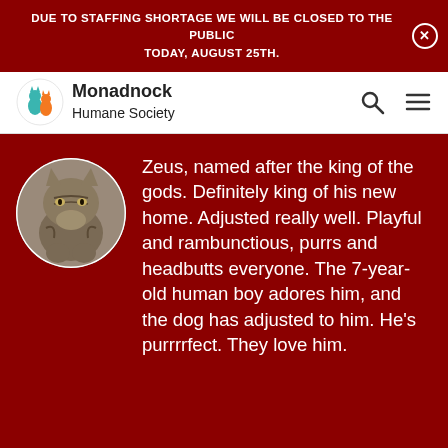DUE TO STAFFING SHORTAGE WE WILL BE CLOSED TO THE PUBLIC TODAY, AUGUST 25TH.
[Figure (logo): Monadnock Humane Society logo: circular icon with cat and dog silhouettes in teal and orange, next to the text 'Monadnock Humane Society']
[Figure (photo): A tabby cat looking downward, shown in a circular cropped format]
Zeus, named after the king of the gods. Definitely king of his new home. Adjusted really well. Playful and rambunctious, purrs and headbutts everyone. The 7-year-old human boy adores him, and the dog has adjusted to him. He’s purrrrfect. They love him.